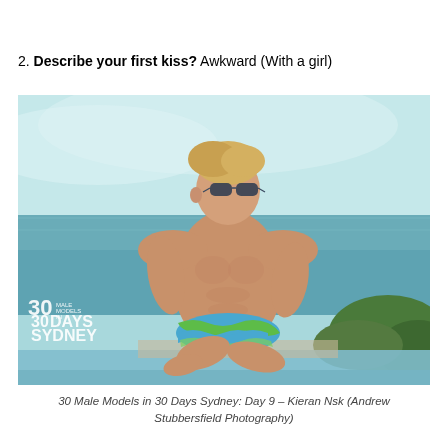2. Describe your first kiss? Awkward (With a girl)
[Figure (photo): A shirtless young male model with blonde hair and aviator sunglasses, sitting by an infinity pool edge with ocean and sky backdrop. He is wearing colorful patterned swim briefs. A watermark in the lower left reads '30 Male Models in 30 Days Sydney'.]
30 Male Models in 30 Days Sydney: Day 9 – Kieran Nsk (Andrew Stubbersfield Photography)